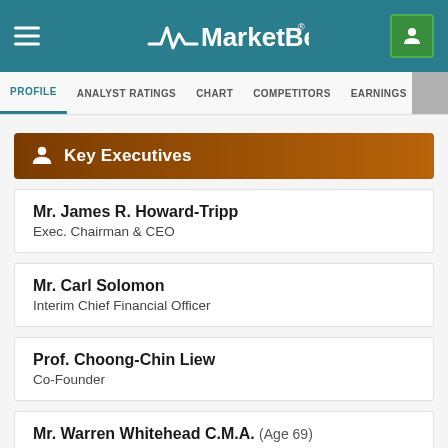MarketBeat
PROFILE | ANALYST RATINGS | CHART | COMPETITORS | EARNINGS | FINANCIALS
Key Executives
Mr. James R. Howard-Tripp
Exec. Chairman & CEO
Mr. Carl Solomon
Interim Chief Financial Officer
Prof. Choong-Chin Liew
Co-Founder
Mr. Warren Whitehead C.M.A. (Age 69)
Chief Accountant